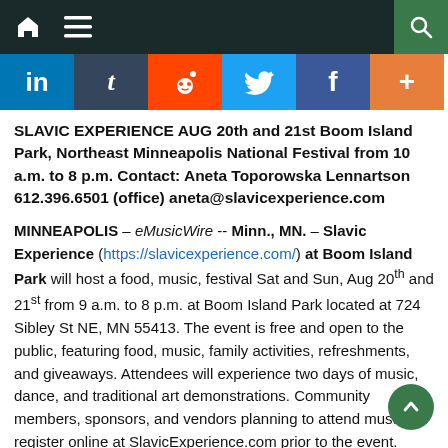Navigation bar with home icon, menu icon, and search icon
[Figure (other): Social sharing buttons row: LinkedIn (blue), Tumblr (dark), Reddit (orange), Twitter (blue), Facebook (blue), More/Plus (orange)]
SLAVIC EXPERIENCE AUG 20th and 21st Boom Island Park, Northeast Minneapolis National Festival from 10 a.m. to 8 p.m. Contact: Aneta Toporowska Lennartson 612.396.6501 (office) aneta@slavicexperience.com
MINNEAPOLIS – eMusicWire -- Minn., MN. – Slavic Experience (https://slavicexperience.com/) at Boom Island Park will host a food, music, festival Sat and Sun, Aug 20th and 21st from 9 a.m. to 8 p.m. at Boom Island Park located at 724 Sibley St NE, MN 55413. The event is free and open to the public, featuring food, music, family activities, refreshments, and giveaways. Attendees will experience two days of music, dance, and traditional art demonstrations. Community members, sponsors, and vendors planning to attend must register online at SlavicExperience.com prior to the event.